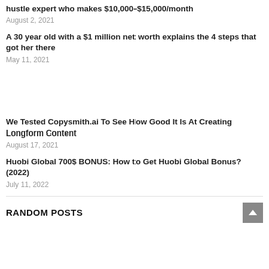hustle expert who makes $10,000-$15,000/month
August 2, 2021
A 30 year old with a $1 million net worth explains the 4 steps that got her there
May 11, 2021
We Tested Copysmith.ai To See How Good It Is At Creating Longform Content
August 17, 2021
Huobi Global 700$ BONUS: How to Get Huobi Global Bonus? (2022)
July 11, 2022
RANDOM POSTS